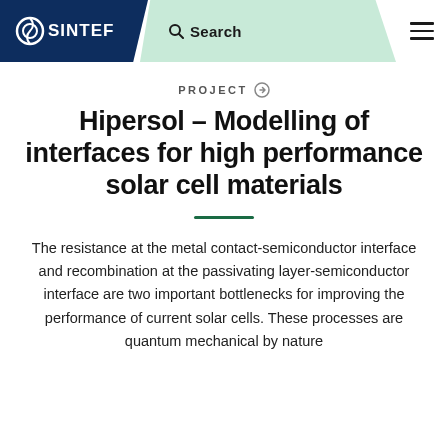SINTEF — Search
PROJECT →
Hipersol – Modelling of interfaces for high performance solar cell materials
The resistance at the metal contact-semiconductor interface and recombination at the passivating layer-semiconductor interface are two important bottlenecks for improving the performance of current solar cells. These processes are quantum mechanical by nature